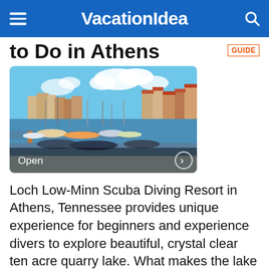VacationIdea
to Do in Athens GUIDE
[Figure (photo): Harbor scene with boats and colorful buildings under a blue sky with clouds, showing 'Open' text overlay and a right arrow button]
Loch Low-Minn Scuba Diving Resort in Athens, Tennessee provides unique experience for beginners and experience divers to explore beautiful, crystal clear ten acre quarry lake. What makes the lake especially exciting for divers is the fact that it is home to the ancient